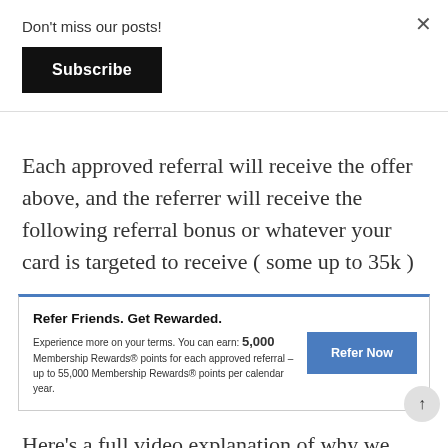Don't miss our posts!
Subscribe
Each approved referral will receive the offer above, and the referrer will receive the following referral bonus or whatever your card is targeted to receive ( some up to 35k )
[Figure (screenshot): American Express referral widget showing 'Refer Friends. Get Rewarded.' with earn 5,000 Membership Rewards® points per approved referral, up to 55,000 per calendar year, and a 'Refer Now' button.]
Here's a full video explanation of why we picked up the card, and how each offer is populating quick tour a cool Cenin Collection Hotel is